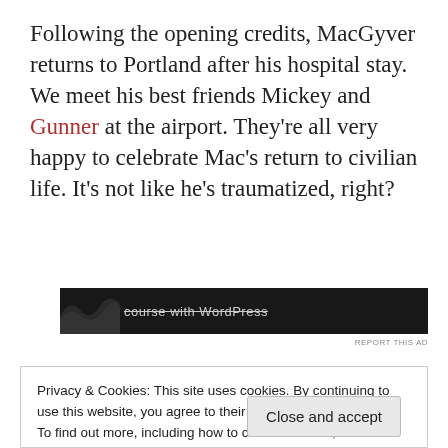Following the opening credits, MacGyver returns to Portland after his hospital stay. We meet his best friends Mickey and Gunner at the airport. They're all very happy to celebrate Mac's return to civilian life. It's not like he's traumatized, right?
[Figure (screenshot): Dark advertisement banner showing partial text 'course with WordPress' with a wavy graphic on the left side]
REPORT THIS AD
Privacy & Cookies: This site uses cookies. By continuing to use this website, you agree to their use.
To find out more, including how to control cookies, see here:
Cookie Policy
Close and accept
to work, Gunner spends more time with Mac. Plot Twist: Mac Gunner realizes that...